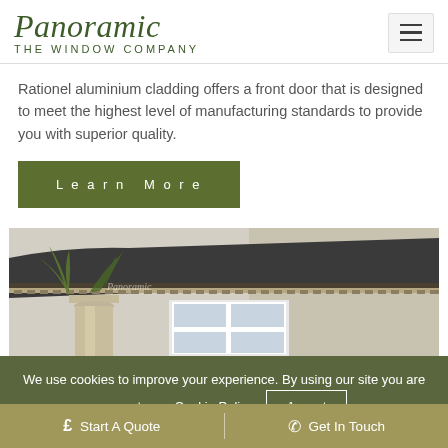Panoramic THE WINDOW COMPANY
Rationel aluminium cladding offers a front door that is designed to meet the highest level of manufacturing standards to provide you with superior quality.
Learn More
[Figure (photo): Architectural exterior photo showing a classical building cornice/portico with ornate moulding details, a pillar, and a white-framed door/window below. A small fern plant is visible in the foreground.]
We use cookies to improve your experience. By using our site you are agree to our Cookie Policy.
£ Start A Quote  |  Get In Touch